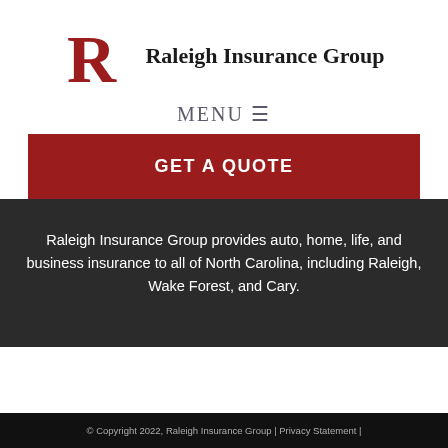[Figure (logo): Raleigh Insurance Group logo: stylized red R lettermark with company name in serif font]
MENU ☰
GET A QUOTE
Raleigh Insurance Group provides auto, home, life, and business insurance to all of North Carolina, including Raleigh, Wake Forest, and Cary.
© Copyright 2022, Raleigh Insurance Group | Privacy Statement |